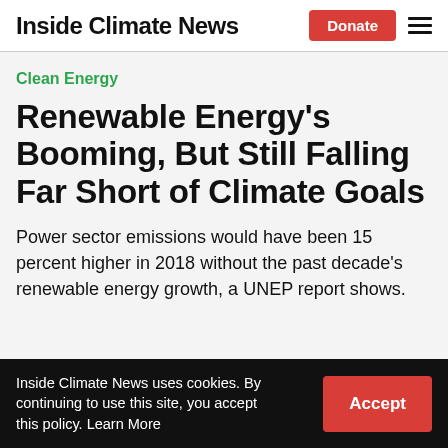Inside Climate News
Clean Energy
Renewable Energy's Booming, But Still Falling Far Short of Climate Goals
Power sector emissions would have been 15 percent higher in 2018 without the past decade's renewable energy growth, a UNEP report shows.
Inside Climate News uses cookies. By continuing to use this site, you accept this policy. Learn More